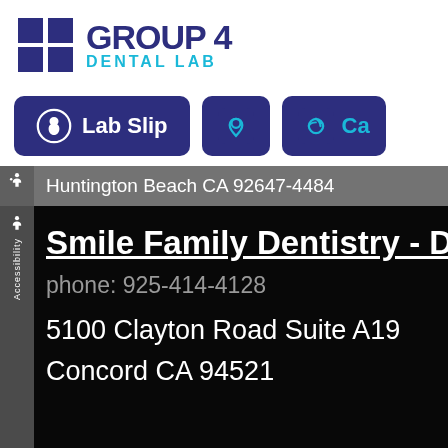[Figure (logo): Group 4 Dental Lab logo with dark blue squares grid and text 'GROUP 4' in dark blue and 'DENTAL LAB' in cyan]
[Figure (screenshot): Navigation buttons: 'Lab Slip' with tooth icon (dark blue rounded rectangle), a location pin icon button, and a partial 'Ca' button — all dark blue rounded rectangles with cyan/white icons]
Huntington Beach CA 92647-4484
Smile Family Dentistry - D
phone: 925-414-4128
5100 Clayton Road Suite A19
Concord CA 94521